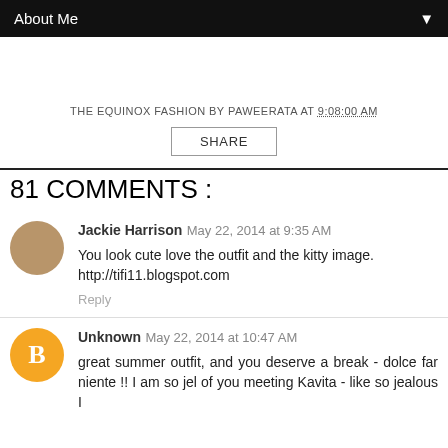About Me ▼
THE EQUINOX FASHION BY PAWEERATA AT 9:08:00 AM
SHARE
81 COMMENTS :
Jackie Harrison May 22, 2014 at 9:35 AM
You look cute love the outfit and the kitty image.
http://tifi11.blogspot.com
Reply
Unknown May 22, 2014 at 10:47 AM
great summer outfit, and you deserve a break - dolce far niente !! I am so jel of you meeting Kavita - like so jealous I